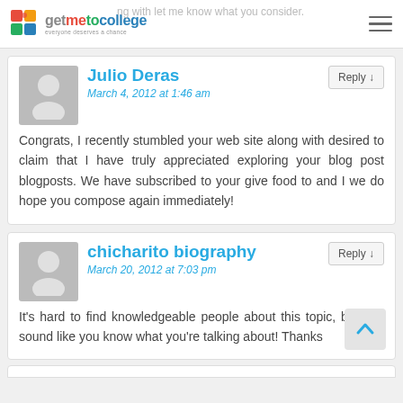getmetocollege — ng with let me know what you consider.
Julio Deras
March 4, 2012 at 1:46 am
Congrats, I recently stumbled your web site along with desired to claim that I have truly appreciated exploring your blog post blogposts. We have subscribed to your give food to and I we do hope you compose again immediately!
chicharito biography
March 20, 2012 at 7:03 pm
It's hard to find knowledgeable people about this topic, but you sound like you know what you're talking about! Thanks